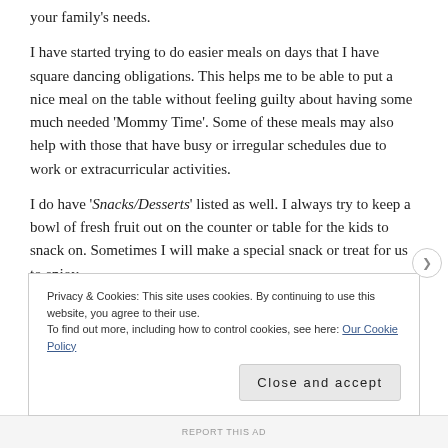your family's needs.
I have started trying to do easier meals on days that I have square dancing obligations. This helps me to be able to put a nice meal on the table without feeling guilty about having some much needed ‘Mommy Time’. Some of these meals may also help with those that have busy or irregular schedules due to work or extracurricular activities.
I do have ‘Snacks/Desserts’ listed as well. I always try to keep a bowl of fresh fruit out on the counter or table for the kids to snack on. Sometimes I will make a special snack or treat for us to enjoy.
Privacy & Cookies: This site uses cookies. By continuing to use this website, you agree to their use.
To find out more, including how to control cookies, see here: Our Cookie Policy
Close and accept
REPORT THIS AD